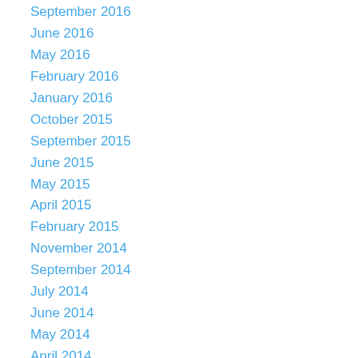September 2016
June 2016
May 2016
February 2016
January 2016
October 2015
September 2015
June 2015
May 2015
April 2015
February 2015
November 2014
September 2014
July 2014
June 2014
May 2014
April 2014
March 2014
February 2014
January 2014